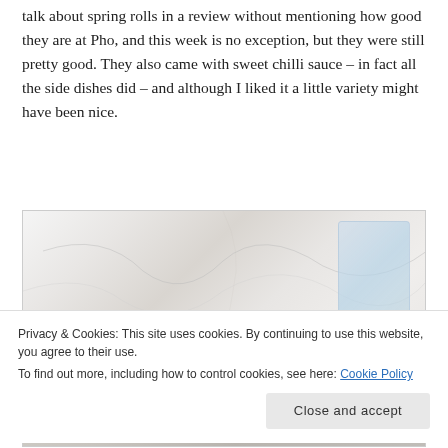talk about spring rolls in a review without mentioning how good they are at Pho, and this week is no exception, but they were still pretty good. They also came with sweet chilli sauce – in fact all the side dishes did – and although I liked it a little variety might have been nice.
[Figure (photo): A marble-topped table with food items including what appears to be golden/fried food and a glass, with a second photo strip visible at the bottom showing a plate.]
Privacy & Cookies: This site uses cookies. By continuing to use this website, you agree to their use.
To find out more, including how to control cookies, see here: Cookie Policy
Close and accept